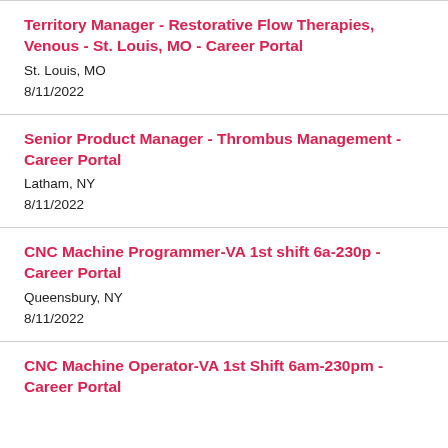Territory Manager - Restorative Flow Therapies, Venous - St. Louis, MO - Career Portal
St. Louis, MO
8/11/2022
Senior Product Manager - Thrombus Management - Career Portal
Latham, NY
8/11/2022
CNC Machine Programmer-VA 1st shift 6a-230p - Career Portal
Queensbury, NY
8/11/2022
CNC Machine Operator-VA 1st Shift 6am-230pm - Career Portal